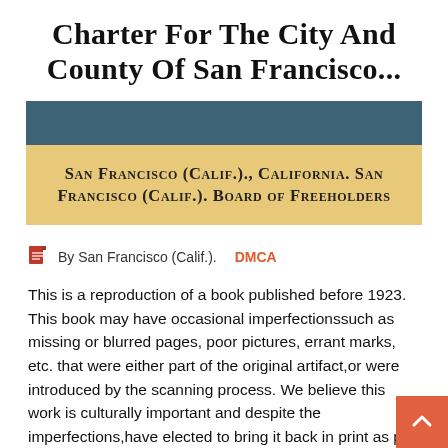Charter For The City And County Of San Francisco...
[Figure (illustration): Book cover image with dark teal top band and gold/tan lower band containing author credit text.]
San Francisco (Calif.)., California. San Francisco (Calif.). Board of Freeholders
By San Francisco (Calif.).   DMCA
This is a reproduction of a book published before 1923. This book may have occasional imperfectionssuch as missing or blurred pages, poor pictures, errant marks, etc. that were either part of the original artifact,or were introduced by the scanning process. We believe this work is culturally important and despite the imperfections,have elected to bring it back in print as part of our continuing...